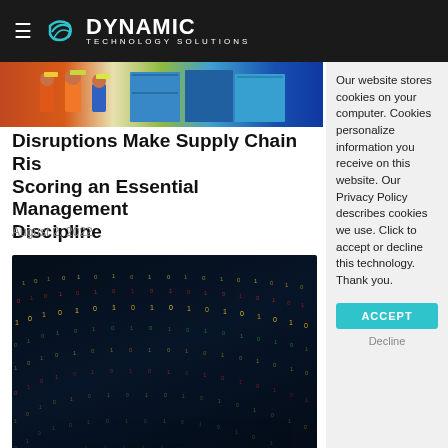Dynamic Technology Solutions
[Figure (photo): Workers in safety vests and hard hats at a loading dock with shipping containers]
Disruptions Make Supply Chain Risk Scoring an Essential Management Discipline
August 2, 2022
[Figure (photo): Dark blue digital data grid with glowing orange and green binary numbers flowing in wave pattern]
Our website stores cookies on your computer. Cookies personalize information you receive on this website. Our Privacy Policy describes cookies we use. Click to accept or decline this technology. Thank you.